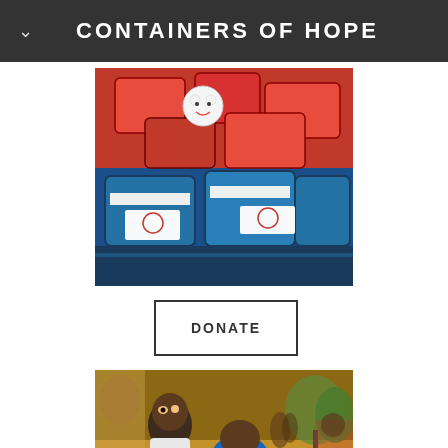CONTAINERS OF HOPE
[Figure (photo): Pile of red and blue school backpacks/bags with a small stuffed animal toy visible among the red bags on top]
DONATE
[Figure (photo): African children outdoors, one child looking up toward the camera and another bent over, with other people visible in the background on a dirt ground]